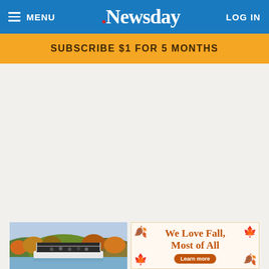MENU | Newsday | LOG IN
SUBSCRIBE $1 FOR 5 MONTHS
[Figure (photo): A flat-top pontoon boat on a lake surrounded by autumn-colored trees and hills]
[Figure (illustration): Fall advertisement: 'We Love Fall Most of All' with autumn leaf decorations and a Learn more button]